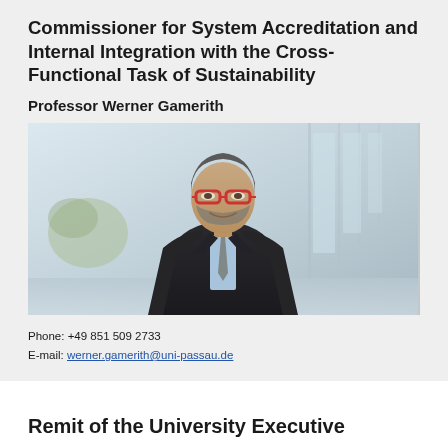Commissioner for System Accreditation and Internal Integration with the Cross-Functional Task of Sustainability
Professor Werner Gamerith
[Figure (photo): Professional headshot of Professor Werner Gamerith, a middle-aged man with short grey hair, red-framed glasses, a beard, wearing a dark suit jacket, light blue shirt, and grey tie, smiling in a modern office corridor.]
Phone: +49 851 509 2733
E-mail: werner.gamerith@uni-passau.de
Remit of the University Executive